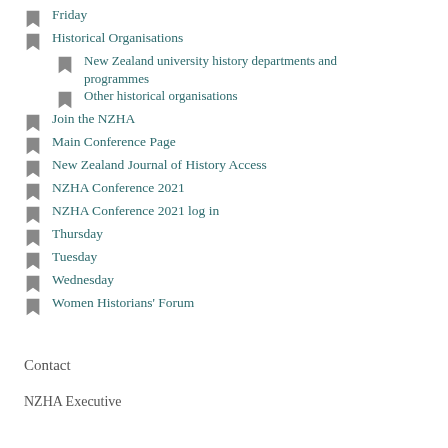Friday
Historical Organisations
New Zealand university history departments and programmes
Other historical organisations
Join the NZHA
Main Conference Page
New Zealand Journal of History Access
NZHA Conference 2021
NZHA Conference 2021 log in
Thursday
Tuesday
Wednesday
Women Historians' Forum
Contact
NZHA Executive